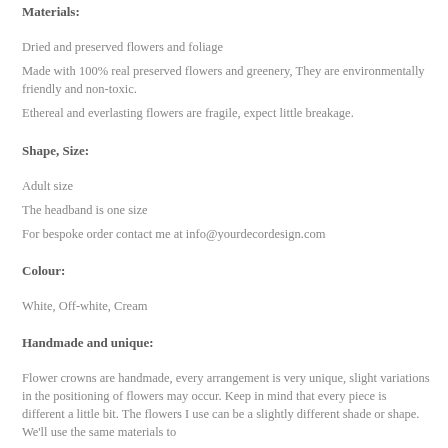Materials:
Dried and preserved flowers and foliage
Made with 100% real preserved flowers and greenery, They are environmentally friendly and non-toxic.
Ethereal and everlasting flowers are fragile, expect little breakage.
Shape, Size:
Adult size
The headband is one size
For bespoke order contact me at info@yourdecordesign.com
Colour:
White, Off-white, Cream
Handmade and unique:
Flower crowns are handmade, every arrangement is very unique, slight variations in the positioning of flowers may occur. Keep in mind that every piece is different a little bit. The flowers I use can be a slightly different shade or shape. We'll use the same materials to